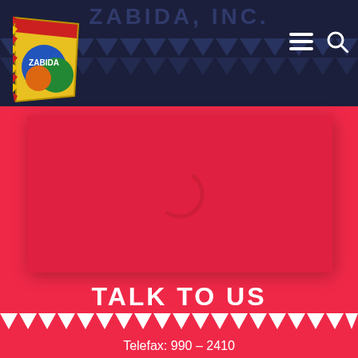ZABIDA, INC.
[Figure (logo): Zabida Inc. colorful logo with flag/kite design on dark navy header background]
[Figure (photo): Loading/placeholder image area with pink-red background and a circular loading spinner icon]
TALK TO US
Telefax: 990 – 2410
zabidamail.ph@gmail.com
FOLLOW US